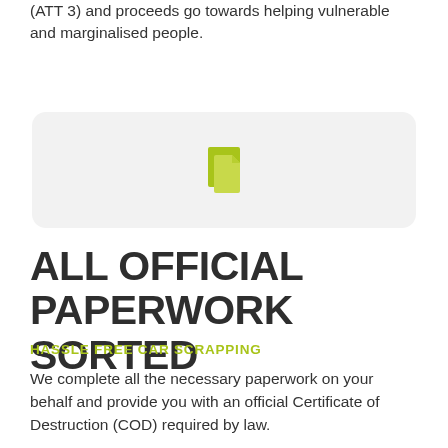(ATT 3) and proceeds go towards helping vulnerable and marginalised people.
[Figure (illustration): Two overlapping document/file icons in yellow-green color on a light grey rounded rectangle background]
ALL OFFICIAL PAPERWORK SORTED
HASSLE FREE CAR SCRAPPING
We complete all the necessary paperwork on your behalf and provide you with an official Certificate of Destruction (COD) required by law.